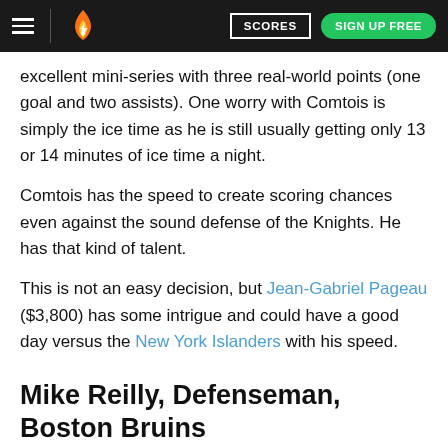SCORES | SIGN UP FREE
excellent mini-series with three real-world points (one goal and two assists). One worry with Comtois is simply the ice time as he is still usually getting only 13 or 14 minutes of ice time a night.
Comtois has the speed to create scoring chances even against the sound defense of the Knights. He has that kind of talent.
This is not an easy decision, but Jean-Gabriel Pageau ($3,800) has some intrigue and could have a good day versus the New York Islanders with his speed.
Mike Reilly, Defenseman, Boston Bruins